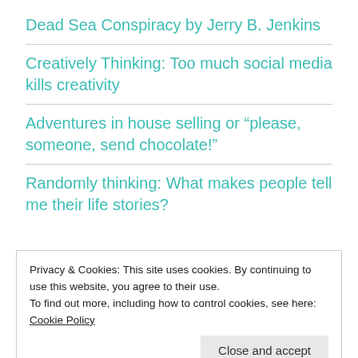Dead Sea Conspiracy by Jerry B. Jenkins
Creatively Thinking: Too much social media kills creativity
Adventures in house selling or “please, someone, send chocolate!”
Randomly thinking: What makes people tell me their life stories?
Privacy & Cookies: This site uses cookies. By continuing to use this website, you agree to their use.
To find out more, including how to control cookies, see here: Cookie Policy
Close and accept